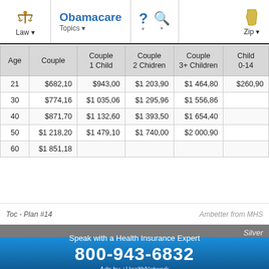Obamacare | Law | Topics | ? | Search | Zip
| Age | Couple | Couple
1 Child | Couple
2 Chidren | Couple
3+ Children | Child
0-14 |
| --- | --- | --- | --- | --- | --- |
| 21 | $682,10 | $943,00 | $1 203,90 | $1 464,80 | $260,90 |
| 30 | $774,16 | $1 035,06 | $1 295,96 | $1 556,86 |  |
| 40 | $871,70 | $1 132,60 | $1 393,50 | $1 654,40 |  |
| 50 | $1 218,20 | $1 479,10 | $1 740,00 | $2 000,90 |  |
| 60 | $1 851,18 |  |  |  |  |
Toc - Plan #14
Ambetter from MHS
Silver
Speak with a Health Insurance Expert
800-943-6832
Ads by +HealthNetwork